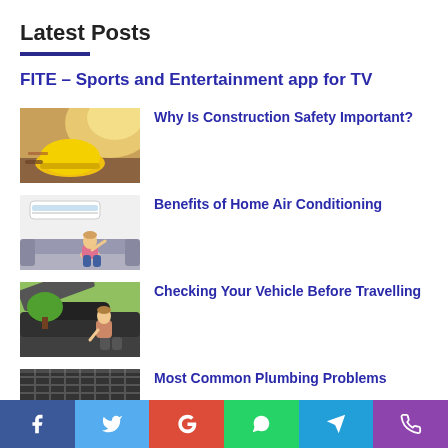Latest Posts
FITE – Sports and Entertainment app for TV
[Figure (photo): Yellow hard hat on a wooden surface with soft sunlight, construction safety theme]
Why Is Construction Safety Important?
[Figure (photo): Woman sitting on a couch under a wall-mounted air conditioning unit]
Benefits of Home Air Conditioning
[Figure (photo): Woman crouching near a broken-down car with open hood on a road]
Checking Your Vehicle Before Travelling
[Figure (photo): Close-up of plumbing pipes or drain grate, plumbing problems theme]
Most Common Plumbing Problems